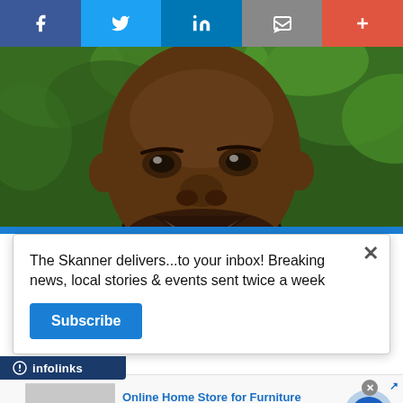[Figure (other): Social media sharing toolbar with Facebook, Twitter, LinkedIn, email/bookmark, and plus buttons]
[Figure (photo): Close-up portrait photo of a smiling Black man with a beard, outdoors with green foliage background]
[Figure (other): Newsletter subscription popup overlay: 'The Skanner delivers...to your inbox! Breaking news, local stories & events sent twice a week' with a Subscribe button and close X]
[Figure (other): Infolinks ad label bar at bottom left]
[Figure (other): Wayfair display advertisement: 'Online Home Store for Furniture - Shop Wayfair for A Zillion Things Home across all styles - www.wayfair.com' with furniture image and navigation arrow]
[Figure (other): Solar panel advertisement in Spanish: 'INDEPENDENT POWUR CONSULTANT - PANELES SOLARES + BATERIA - SE BUSCAN VENDEDORES - 310-467-5410 - OBTENG UN BONO INSTALACI... $1,000 CASH']